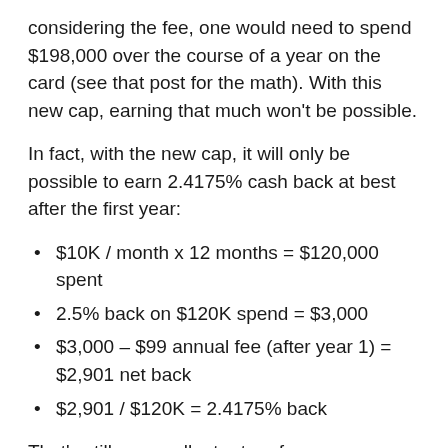considering the fee, one would need to spend $198,000 over the course of a year on the card (see that post for the math). With this new cap, earning that much won’t be possible.
In fact, with the new cap, it will only be possible to earn 2.4175% cash back at best after the first year:
$10K / month x 12 months = $120,000 spent
2.5% back on $120K spend = $3,000
$3,000 – $99 annual fee (after year 1) = $2,901 net back
$2,901 / $120K = 2.4175% back
That’s still an excellent return for anyone